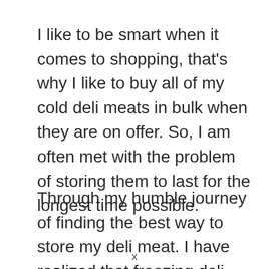I like to be smart when it comes to shopping, that's why I like to buy all of my cold deli meats in bulk when they are on offer. So, I am often met with the problem of storing them to last for the longest time possible.
Through my humble journey of finding the best way to store my deli meat. I have realized that freezing deli meat is